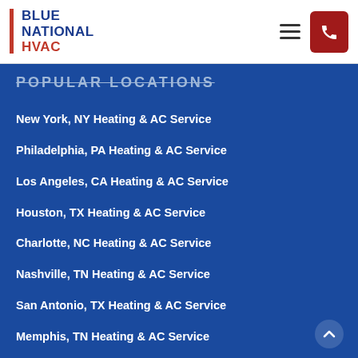[Figure (logo): Blue National HVAC logo with red vertical bar and blue/red text]
POPULAR LOCATIONS
New York, NY Heating & AC Service
Philadelphia, PA Heating & AC Service
Los Angeles, CA Heating & AC Service
Houston, TX Heating & AC Service
Charlotte, NC Heating & AC Service
Nashville, TN Heating & AC Service
San Antonio, TX Heating & AC Service
Memphis, TN Heating & AC Service